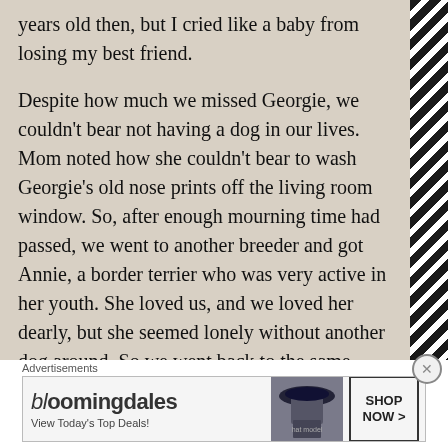years old then, but I cried like a baby from losing my best friend.

Despite how much we missed Georgie, we couldn't bear not having a dog in our lives. Mom noted how she couldn't bear to wash Georgie's old nose prints off the living room window. So, after enough mourning time had passed, we went to another breeder and got Annie, a border terrier who was very active in her youth. She loved us, and we loved her dearly, but she seemed lonely without another dog around. So we went back to the same breeder and got her little cousin Iggy as well. Love at first sight, once again. I remember I had just come back from camp and Mom met me and her parents (who had picked me up from camp) at a strip mall on my way home, and there was Iggy, the tiniest
Advertisements
[Figure (other): Bloomingdale's advertisement banner with logo, tagline 'View Today's Top Deals!', image of a woman in a hat, and a 'SHOP NOW >' button.]